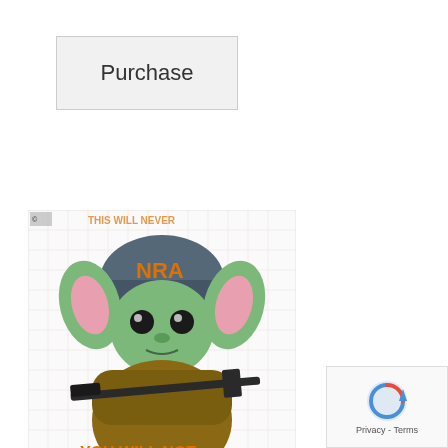Purchase
[Figure (illustration): Baby Yoda character wearing an NRA helmet and holding a rifle, with text 'YOU WILL NOT FIGHT AWAY' on a grid background]
Baby Yoda Pro Second Amendment
This is a SVG image. This image can be used with Cricut or similar cutting machines. ***All copyrights and trademarks of the characters or logos used belong respective